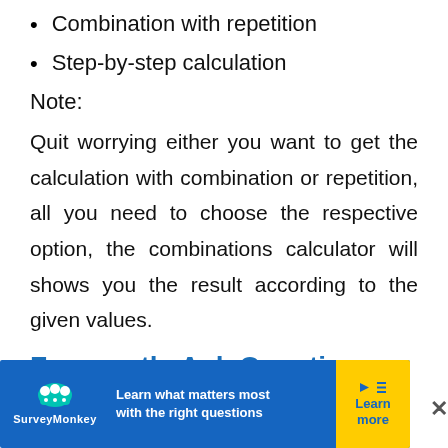Combination with repetition
Step-by-step calculation
Note:
Quit worrying either you want to get the calculation with combination or repetition, all you need to choose the respective option, the combinations calculator will shows you the result according to the given values.
Frequently Ask Questions (FAQ's):
What do 10 choose 3 mean?
It m... 10 t...